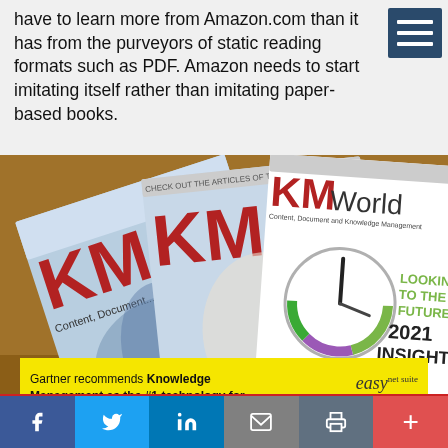have to learn more from Amazon.com than it has from the purveyors of static reading formats such as PDF. Amazon needs to start imitating itself rather than imitating paper-based books.
[Figure (photo): Three KMWorld magazine covers fanned out on a wooden surface. The front cover shows 'KMWorld Content, Document and Knowledge Management' with the headline 'LOOKING TO THE FUTURE: 2021 INSIGHT' and a clock graphic. Behind it are two other KMWorld issues including one with 'Trends' and another partially visible.]
[Figure (infographic): Advertisement banner: 'Gartner recommends Knowledge Management as the #1 technology for customer service for 2022' with easy (stylized logo) branding and a 'Download Free Gartner Report' button.]
Social share bar with Facebook, Twitter, LinkedIn, Email, Print, and Plus buttons